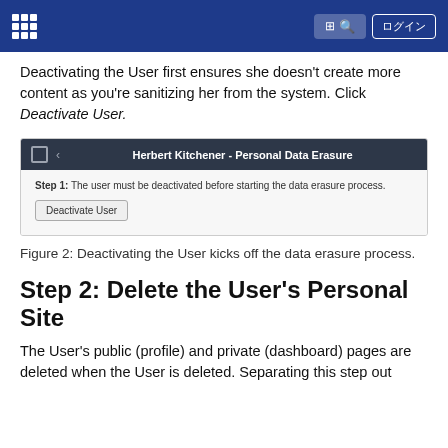Liferay documentation navigation header
Deactivating the User first ensures she doesn’t create more content as you’re sanitizing her from the system. Click Deactivate User.
[Figure (screenshot): Screenshot of Herbert Kitchener - Personal Data Erasure panel showing Step 1 with a Deactivate User button]
Figure 2: Deactivating the User kicks off the data erasure process.
Step 2: Delete the User’s Personal Site
The User’s public (profile) and private (dashboard) pages are deleted when the User is deleted. Separating this step out